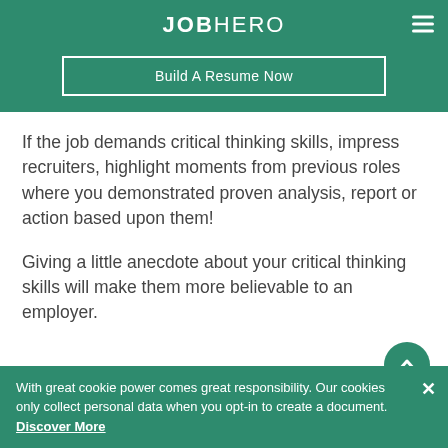JOBHERO
Build A Resume Now
If the job demands critical thinking skills, impress recruiters, highlight moments from previous roles where you demonstrated proven analysis, report or action based upon them!
Giving a little anecdote about your critical thinking skills will make them more believable to an employer.
With great cookie power comes great responsibility. Our cookies only collect personal data when you opt-in to create a document. Discover More